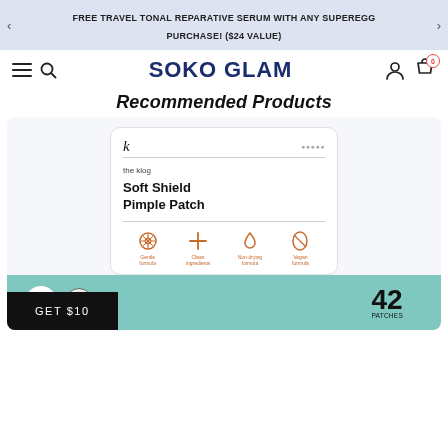FREE TRAVEL TONAL REPARATIVE SERUM WITH ANY SUPEREGG PURCHASE! ($24 VALUE)
[Figure (logo): Soko Glam website navigation bar with hamburger menu, search icon, SOKO GLAM logo, user icon and cart icon with 0 items]
Recommended Products
[Figure (photo): The Klog Soft Shield Pimple Patch product card showing package with 42 patches, icons for product features, teal bottom band, with GET $10 button overlay]